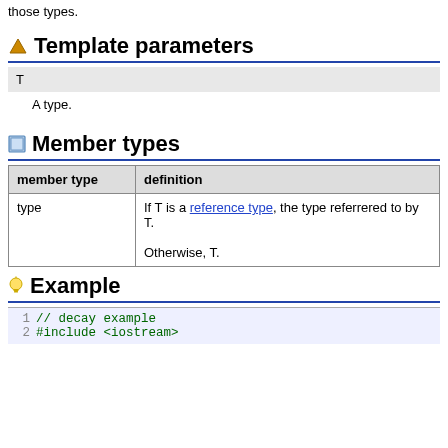those types.
Template parameters
| T |  |
| --- | --- |
| T | A type. |
Member types
| member type | definition |
| --- | --- |
| type | If T is a reference type, the type referrered to by T.
Otherwise, T. |
Example
1 // decay example
2 #include <iostream>